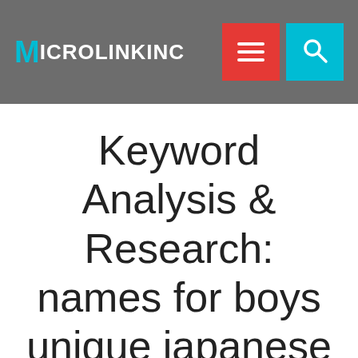MICROLINKINC
Keyword Analysis & Research: names for boys unique japanese